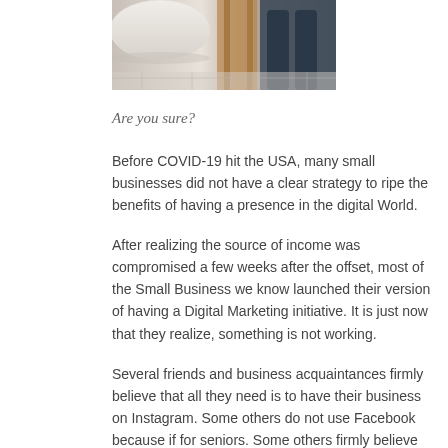[Figure (photo): A cropped photograph showing a white round table and a person's legs near a wooden stair railing, viewed from above.]
Are you sure?
Before COVID-19 hit the USA, many small businesses did not have a clear strategy to ripe the benefits of having a presence in the digital World.
After realizing the source of income was compromised a few weeks after the offset, most of the Small Business we know launched their version of having a Digital Marketing initiative. It is just now that they realize, something is not working.
Several friends and business acquaintances firmly believe that all they need is to have their business on Instagram. Some others do not use Facebook because if for seniors. Some others firmly believe